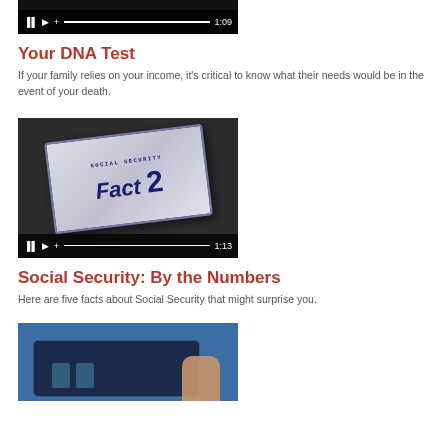[Figure (screenshot): Video thumbnail with playback controls showing 1:09 timestamp, dark background]
Your DNA Test
If your family relies on your income, it's critical to know what their needs would be in the event of your death.
[Figure (screenshot): Video thumbnail showing a Social Security card with 'Fact 2' displayed on a tablet, playback controls showing 1:13 timestamp]
Social Security: By the Numbers
Here are five facts about Social Security that might surprise you.
[Figure (screenshot): Video thumbnail showing a tablet device being held, partial view, blue background]